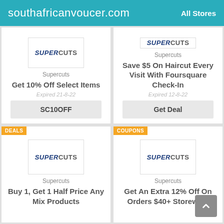southafricanvoucer.com   All Stores
Supercuts
Get 10% Off Select Items
Expired 21-8-22
SC10OFF
Supercuts
Save $5 On Haircut Every Visit With Foursquare Check-In
Expired 12-8-22
Get Deal
DEALS
[Figure (logo): Supercuts logo in blue and grey]
Supercuts
Buy 1, Get 1 Half Price Any Mix Products
COUPONS
[Figure (logo): Supercuts logo in blue and grey]
Supercuts
Get An Extra 12% Off On Orders $40+ Storewide